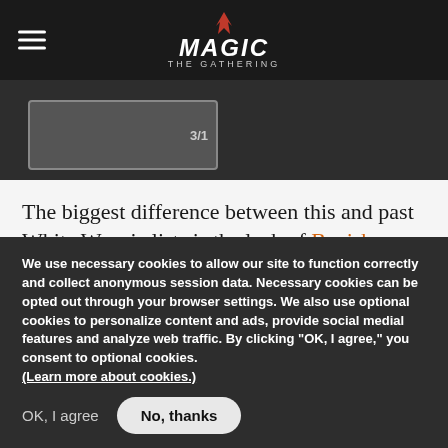Magic: The Gathering
[Figure (photo): Magic: The Gathering card image partially visible against dark background]
The biggest difference between this and past White Weenie lists is the lack of Banisher Priests, which is a consequence of playing four copies of Brimaz. Banisher Priest is your best
We use necessary cookies to allow our site to function correctly and collect anonymous session data. Necessary cookies can be opted out through your browser settings. We also use optional cookies to personalize content and ads, provide social medial features and analyze web traffic. By clicking “OK, I agree,” you consent to optional cookies. (Learn more about cookies.)